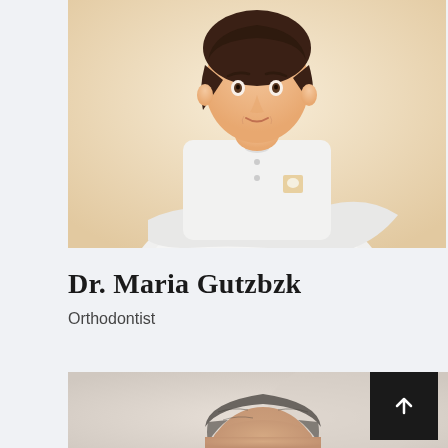[Figure (photo): A female doctor in a white medical coat with crossed arms, brown hair, photographed against a warm beige background. She has a tooth-shaped badge on her coat.]
Dr. Maria Gutzbzk
Orthodontist
[Figure (photo): A male doctor with short gray-brown hair, photographed against a light background. Only the top of his head and face are visible in this cropped view.]